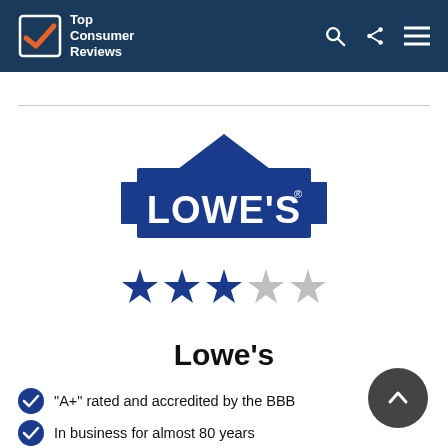Top Consumer Reviews
[Figure (logo): Lowe's home improvement store logo - blue banner with white text 'LOWE'S' and house roofline shape above]
[Figure (infographic): 3 out of 5 blue stars rating]
Lowe's
"A+" rated and accredited by the BBB
In business for almost 80 years